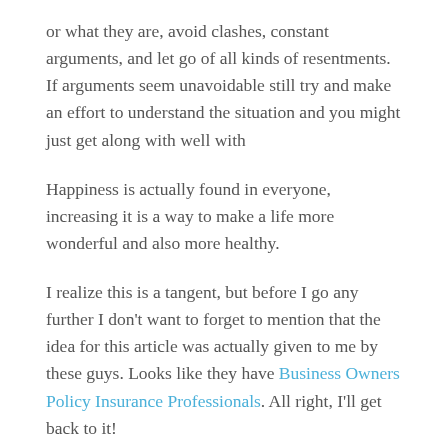or what they are, avoid clashes, constant arguments, and let go of all kinds of resentments. If arguments seem unavoidable still try and make an effort to understand the situation and you might just get along with well with
Happiness is actually found in everyone, increasing it is a way to make a life more wonderful and also more healthy.
I realize this is a tangent, but before I go any further I don't want to forget to mention that the idea for this article was actually given to me by these guys. Looks like they have Business Owners Policy Insurance Professionals. All right, I'll get back to it!
To be happy is relatively easy, just decide to be a happy person. Abraham Lincoln observed that most